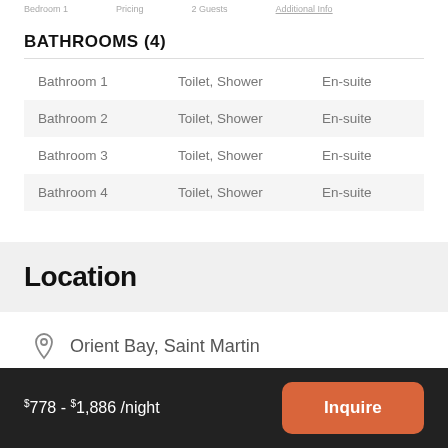Bedroom 1   Pricing   2 Guests   Additional Info
BATHROOMS (4)
|  |  |  |
| --- | --- | --- |
| Bathroom 1 | Toilet, Shower | En-suite |
| Bathroom 2 | Toilet, Shower | En-suite |
| Bathroom 3 | Toilet, Shower | En-suite |
| Bathroom 4 | Toilet, Shower | En-suite |
Location
Orient Bay, Saint Martin
$778 - $1,886 /night   Inquire